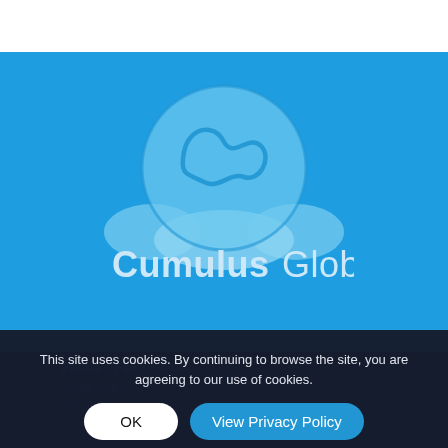[Figure (logo): Cumulus Global logo: a stylized globe with a wave/cloud shape at the bottom and abstract figure on a bright blue background, with the text 'Cumulus Global' below in light blue]
This site uses cookies. By continuing to browse the site, you are agreeing to our use of cookies.
OK
View Privacy Policy
Phone / Fax / Email
866-358-...
508-948-4070